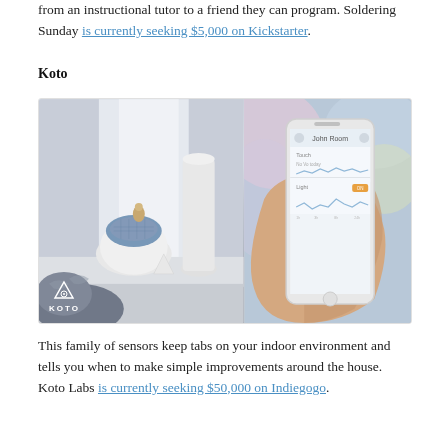from an instructional tutor to a friend they can program. Soldering Sunday is currently seeking $5,000 on Kickstarter.
Koto
[Figure (photo): Two-panel image: left panel shows Koto sensor device (white rounded pebble shape with blue fabric top and a small figurine) on a windowsill beside a white ceramic vase and a small triangular white card, with a dog's head partially visible in foreground; right panel shows a hand holding an iPhone displaying the Koto app with graphs and data. KOTO logo with icon appears in bottom-left corner.]
This family of sensors keep tabs on your indoor environment and tells you when to make simple improvements around the house. Koto Labs is currently seeking $50,000 on Indiegogo.